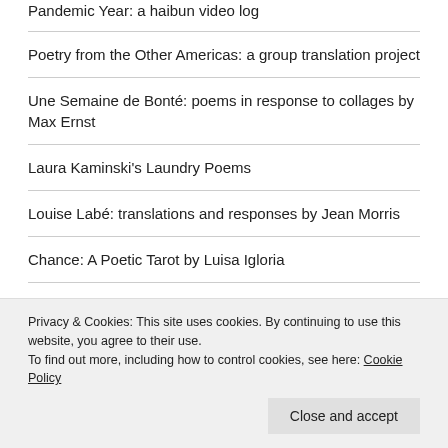Pandemic Year: a haibun video log
Poetry from the Other Americas: a group translation project
Une Semaine de Bonté: poems in response to collages by Max Ernst
Laura Kaminski's Laundry Poems
Louise Labé: translations and responses by Jean Morris
Chance: A Poetic Tarot by Luisa Igloria
Pepys Diary erasure project
Privacy & Cookies: This site uses cookies. By continuing to use this website, you agree to their use.
To find out more, including how to control cookies, see here: Cookie Policy
Close and accept